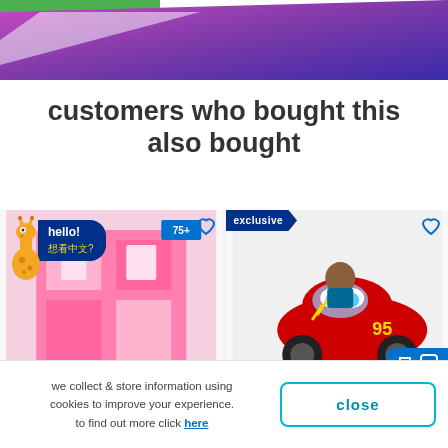[Figure (illustration): Purple-pink gradient banner at top of page with green grass visible at top-left corner]
customers who bought this also bought
[Figure (photo): Product card: Barbie Dreamhouse playset with 'hello! 想看中文?' speech bubble and giraffe mascot overlay]
[Figure (photo): Product card with 'exclusive' badge showing child riding Lightning McQueen ride-on car]
we collect & store information using cookies to improve your experience. to find out more click here